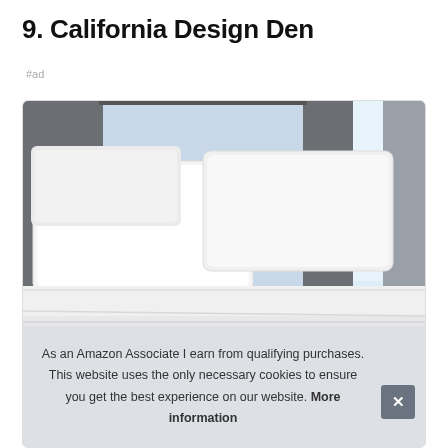9. California Design Den
#ad
[Figure (photo): A neatly made bed with white pillows and white sheets, dark grey upholstered headboard panels, with a window showing a bright outdoor scene in the background.]
As an Amazon Associate I earn from qualifying purchases. This website uses the only necessary cookies to ensure you get the best experience on our website. More information